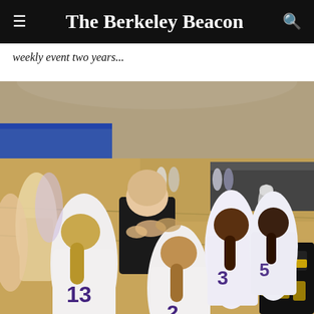The Berkeley Beacon
weekly event two years...
[Figure (photo): A women's basketball team huddles around a coach in a gymnasium during a timeout. Players wearing white and purple jerseys with numbers 13, 2, 3, and 5 visible. A referee and spectators are visible in the background.]